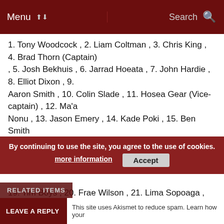Menu | Search
1. Tony Woodcock , 2. Liam Coltman , 3. Chris King , 4. Brad Thorn (Captain)
, 5. Josh Bekhuis , 6. Jarrad Hoeata , 7. John Hardie , 8. Elliot Dixon , 9.
Aaron Smith , 10. Colin Slade , 11. Hosea Gear (Vice-captain) , 12. Ma'a
Nonu , 13. Jason Emery , 14. Kade Poki , 15. Ben Smith

Replacements : 16. Jason Rutledge , 17. Bronson Murray , 18. Joe Wheeler ,
19. Tim Boys , 20. Frae Wilson , 21. Lima Sopoaga , 22. Phil Burleigh
By continuing to use the site, you agree to the use of cookies. more information Accept
RELATED ITEMS
LEAVE A REPLY  This site uses Akismet to reduce spam. Learn how your